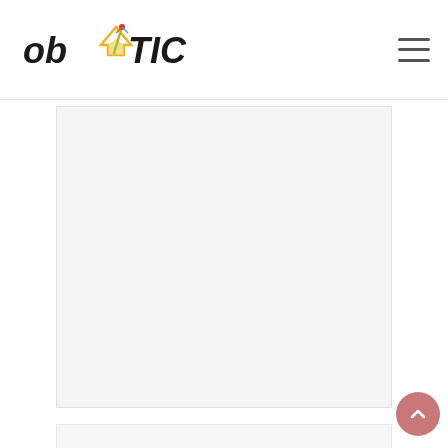ob Y TIC — website header with logo and hamburger menu
[Figure (other): Advertisement banner area — white/light gray empty rectangle]
Interesting Articles
[Figure (photo): Article card showing Fried Trout food photo with green herbs/scallions on left side, gray panel on right side, title 'Fried Trout' and date 'August 28, 2022' overlaid on the image]
Fried Trout
August 28, 2022